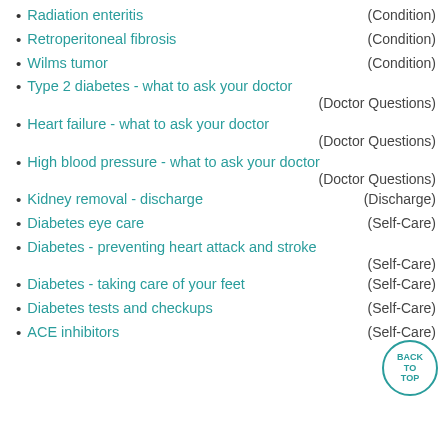Radiation enteritis (Condition)
Retroperitoneal fibrosis (Condition)
Wilms tumor (Condition)
Type 2 diabetes - what to ask your doctor (Doctor Questions)
Heart failure - what to ask your doctor (Doctor Questions)
High blood pressure - what to ask your doctor (Doctor Questions)
Kidney removal - discharge (Discharge)
Diabetes eye care (Self-Care)
Diabetes - preventing heart attack and stroke (Self-Care)
Diabetes - taking care of your feet (Self-Care)
Diabetes tests and checkups (Self-Care)
ACE inhibitors (Self-Care)